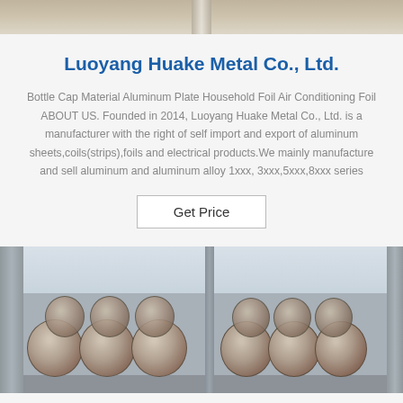[Figure (photo): Top portion of an industrial or warehouse photo showing ceiling/lighting beam]
Luoyang Huake Metal Co., Ltd.
Bottle Cap Material Aluminum Plate Household Foil Air Conditioning Foil ABOUT US. Founded in 2014, Luoyang Huake Metal Co., Ltd. is a manufacturer with the right of self import and export of aluminum sheets,coils(strips),foils and electrical products.We mainly manufacture and sell aluminum and aluminum alloy 1xxx, 3xxx,5xxx,8xxx series
Get Price
[Figure (photo): Warehouse interior showing rows of aluminum coil rolls stored on the floor with windows in the background]